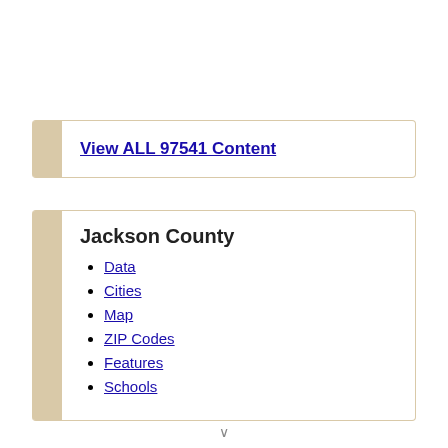View ALL 97541 Content
Jackson County
Data
Cities
Map
ZIP Codes
Features
Schools